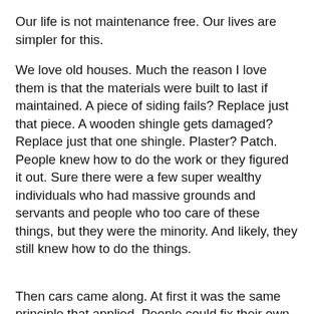Our life is not maintenance free. Our lives are simpler for this.
We love old houses. Much the reason I love them is that the materials were built to last if maintained. A piece of siding fails? Replace just that piece. A wooden shingle gets damaged? Replace just that one shingle. Plaster? Patch. People knew how to do the work or they figured it out. Sure there were a few super wealthy individuals who had massive grounds and servants and people who too care of these things, but they were the minority. And likely, they still knew how to do the things.
Then cars came along. At first it was the same principle that applied. People could fix their own cars when something went wrong. Things got fixed, cars lasted longer. They were built to be repaired and maintained.
Now, we take it to the shop or call an expert. The knowledge is specialized. If the work is too expensive, we junk the car or house and buy a new one or move. Disposable. Same with